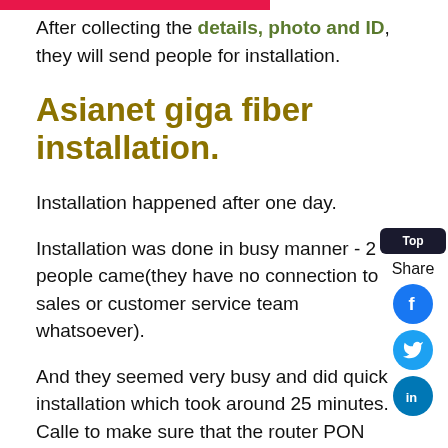After collecting the details, photo and ID, they will send people for installation.
Asianet giga fiber installation.
Installation happened after one day.
Installation was done in busy manner - 2 people came(they have no connection to sales or customer service team whatsoever).
And they seemed very busy and did quick installation which took around 25 minutes. Called to make sure that the router PON light is green